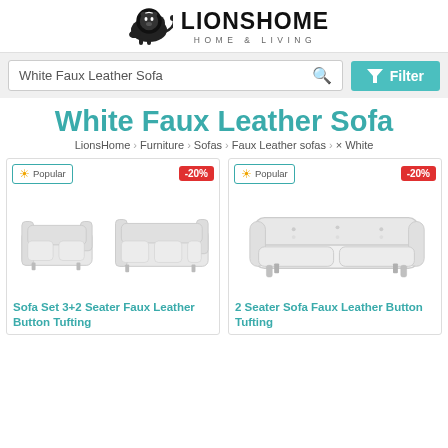[Figure (logo): LionsHome Home & Living brand logo with lion illustration]
White Faux Leather Sofa [search bar] Filter
White Faux Leather Sofa
LionsHome › Furniture › Sofas › Faux Leather sofas › × White
[Figure (photo): Sofa Set 3+2 Seater Faux Leather Button Tufting product photo with Popular and -20% badges]
[Figure (photo): 2 Seater Sofa Faux Leather Button Tufting product photo with Popular and -20% badges]
Sofa Set 3+2 Seater Faux Leather Button Tufting
2 Seater Sofa Faux Leather Button Tufting